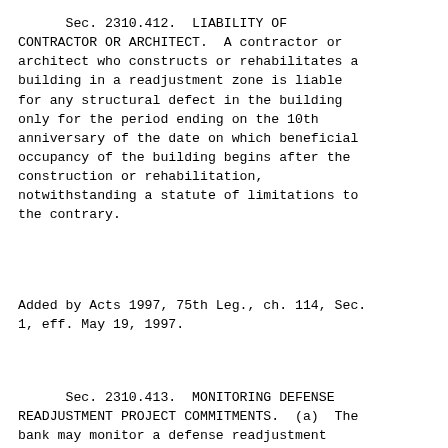Sec. 2310.412.  LIABILITY OF CONTRACTOR OR ARCHITECT.  A contractor or architect who constructs or rehabilitates a building in a readjustment zone is liable for any structural defect in the building only for the period ending on the 10th anniversary of the date on which beneficial occupancy of the building begins after the construction or rehabilitation, notwithstanding a statute of limitations to the contrary.
Added by Acts 1997, 75th Leg., ch. 114, Sec. 1, eff. May 19, 1997.
Sec. 2310.413.  MONITORING DEFENSE READJUSTMENT PROJECT COMMITMENTS.  (a)  The bank may monitor a defense readjustment